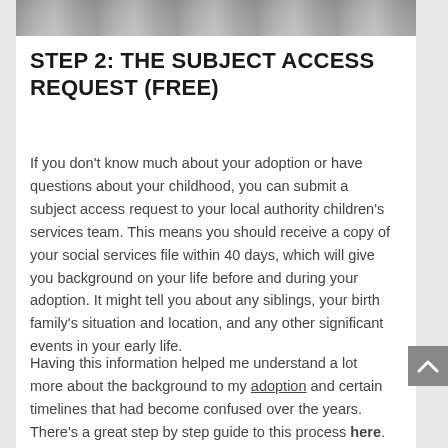[Figure (photo): Partial photograph visible at the top of the page, showing a black and white or grayscale image, cropped to a narrow strip.]
STEP 2: THE SUBJECT ACCESS REQUEST (FREE)
If you don't know much about your adoption or have questions about your childhood, you can submit a subject access request to your local authority children's services team. This means you should receive a copy of your social services file within 40 days, which will give you background on your life before and during your adoption. It might tell you about any siblings, your birth family's situation and location, and any other significant events in your early life.
Having this information helped me understand a lot more about the background to my adoption and certain timelines that had become confused over the years. There's a great step by step guide to this process here.